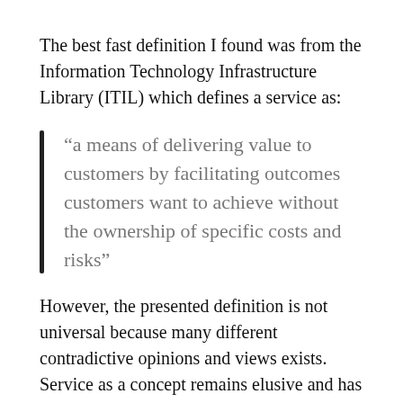The best fast definition I found was from the Information Technology Infrastructure Library (ITIL) which defines a service as:
“a means of delivering value to customers by facilitating outcomes customers want to achieve without the ownership of specific costs and risks”
However, the presented definition is not universal because many different contradictive opinions and views exists. Service as a concept remains elusive and has of yet not reached a consensus, although common ground is found